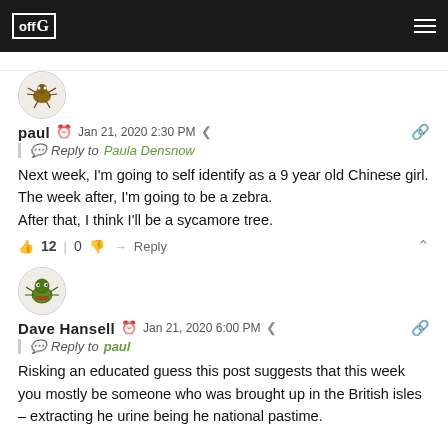OffG navigation header
paul  Jan 21, 2020 2:30 PM  Reply to Paula Densnow
Next week, I'm going to self identify as a 9 year old Chinese girl.
The week after, I'm going to be a zebra.
After that, I think I'll be a sycamore tree.
👍 12 | 0 👎  Reply
Dave Hansell  Jan 21, 2020 6:00 PM  Reply to paul
Risking an educated guess this post suggests that this week you mostly be someone who was brought up in the British isles – extracting he urine being he national pastime.